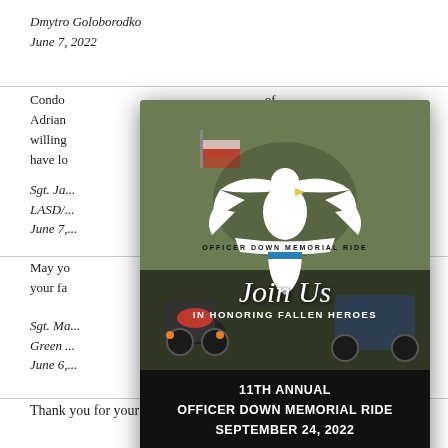Dmytro Goloborodko
June 7, 2022
Condo... of Adrian... hero, willing... ad to have lo...
Sgt. Ja...
LASD/...
June 7,...
May yo... to your fa...
Sgt. Ma...
Green ...
June 6,...
[Figure (infographic): Officer Down Memorial Ride popup ad with eagle logo, motorcycles background photo. Text: Join Us IN HONORING FALLEN HEROES / 11TH ANNUAL OFFICER DOWN MEMORIAL RIDE SEPTEMBER 24, 2022 / REGISTER NOW button]
Thank you for your service, brother. RIP.